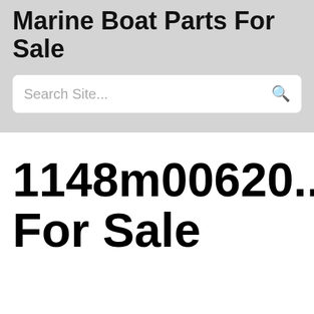Marine Boat Parts For Sale
Search Site...
1148m006204 For Sale